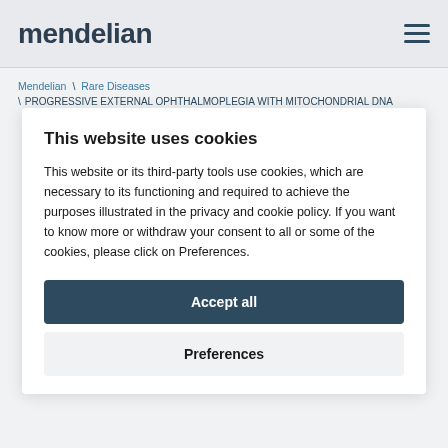mendelian
Mendelian \ Rare Diseases \ PROGRESSIVE EXTERNAL OPHTHALMOPLEGIA WITH MITOCHONDRIAL DNA DELETIONS, AUTOSOMAL RECESSIVE 4; PEOA4
This website uses cookies
This website or its third-party tools use cookies, which are necessary to its functioning and required to achieve the purposes illustrated in the privacy and cookie policy. If you want to know more or withdraw your consent to all or some of the cookies, please click on Preferences.
Accept all
Preferences